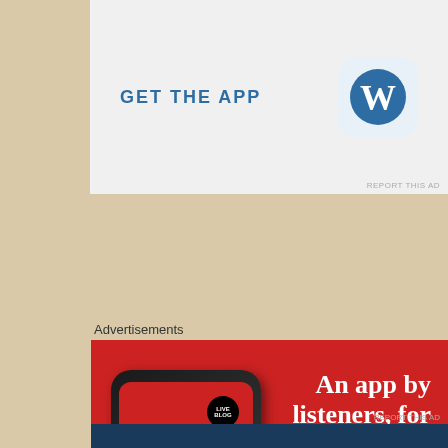[Figure (screenshot): GET THE APP banner ad with WordPress logo icon on light grey background]
Advertisements
[Figure (screenshot): Red advertisement banner: An app by listeners, for listeners. Download now. Shows a smartphone with 'Distributed' app on screen.]
Privacy & Cookies: This site uses cookies. By continuing to use this website, you agree to their use.
To find out more, including how to control cookies, see here: Cookie Policy
Close and accept